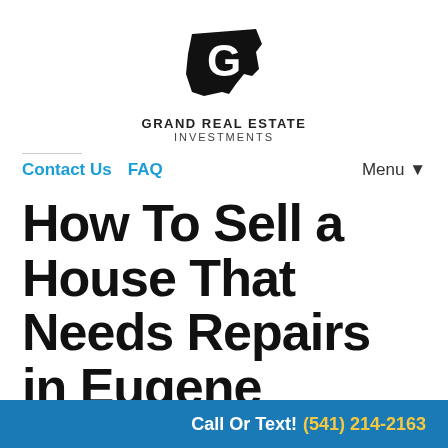[Figure (logo): Grand Real Estate Investments logo: Oregon state shape silhouette in black with a white G letter, with text GRAND REAL ESTATE INVESTMENTS below]
Contact Us   FAQ   Menu ▼
How To Sell a House That Needs Repairs in Eugene
January 17, 2021
By Robert Grand
Call Or Text! (541) 214-2163